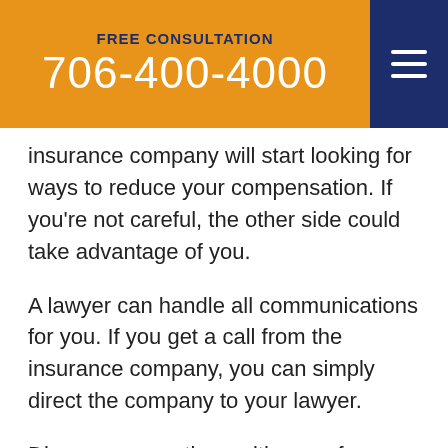FREE CONSULTATION
706-400-4000
insurance company will start looking for ways to reduce your compensation. If you're not careful, the other side could take advantage of you.
A lawyer can handle all communications for you. If you get a call from the insurance company, you can simply direct the company to your lawyer.
Discuss your options with one of our trusted lawyers at John Foy & Associates today. Call (404) 341-6447 or contact us online for a